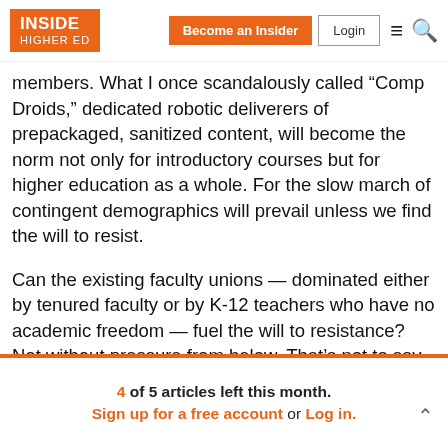INSIDE HIGHER ED | Become an Insider | Login
members. What I once scandalously called "Comp Droids," dedicated robotic deliverers of prepackaged, sanitized content, will become the norm not only for introductory courses but for higher education as a whole. For the slow march of contingent demographics will prevail unless we find the will to resist.
Can the existing faculty unions — dominated either by tenured faculty or by K-12 teachers who have no academic freedom — fuel the will to resistance? Not without pressure from below. That's not to say that the AAUP, American Federation of Teachers and National
4 of 5 articles left this month.
Sign up for a free account or Log in.